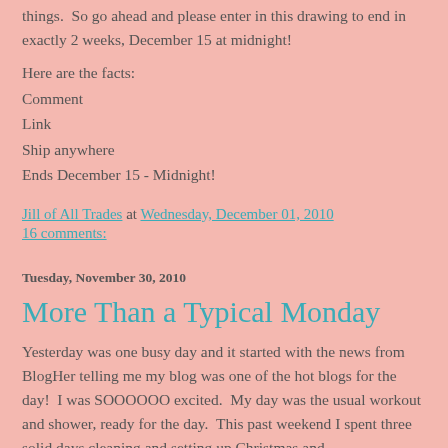things.  So go ahead and please enter in this drawing to end in exactly 2 weeks, December 15 at midnight!
Here are the facts:
Comment
Link
Ship anywhere
Ends December 15 - Midnight!
Jill of All Trades at Wednesday, December 01, 2010
16 comments:
Tuesday, November 30, 2010
More Than a Typical Monday
Yesterday was one busy day and it started with the news from BlogHer telling me my blog was one of the hot blogs for the day!  I was SOOOOOO excited.  My day was the usual workout and shower, ready for the day.  This past weekend I spent three solid days cleaning and setting up Christmas and